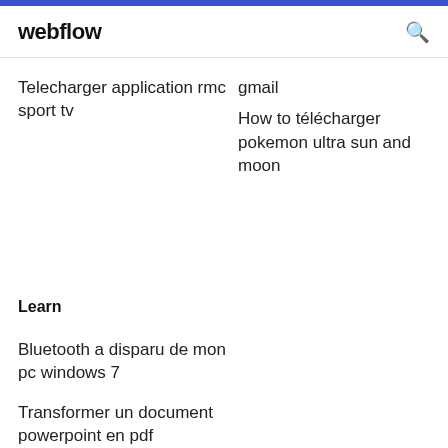webflow
Telecharger application rmc sport tv
gmail
How to télécharger pokemon ultra sun and moon
Learn
Bluetooth a disparu de mon pc windows 7
Transformer un document powerpoint en pdf